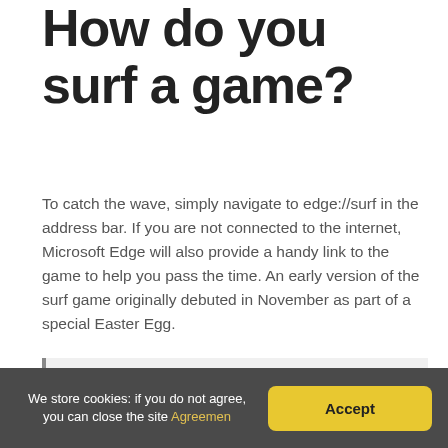How do you surf a game?
To catch the wave, simply navigate to edge://surf in the address bar. If you are not connected to the internet, Microsoft Edge will also provide a handy link to the game to help you pass the time. An early version of the surf game originally debuted in November as part of a special Easter Egg.
You might be interested: What Beach After Cowells Surfing? (Question)
How do you play the
We store cookies: if you do not agree, you can close the site Agreemen